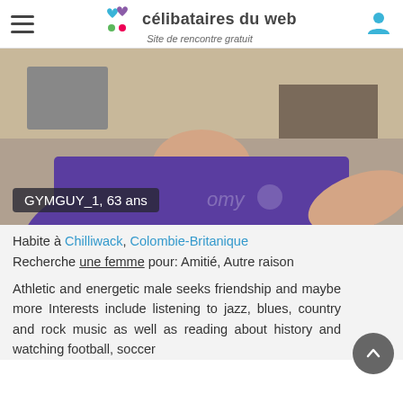célibataires du web — Site de rencontre gratuit
[Figure (photo): Profile photo of GYMGUY_1, a man wearing a purple t-shirt, with a name overlay reading 'GYMGUY_1, 63 ans']
Habite à Chilliwack, Colombie-Britanique
Recherche une femme pour: Amitié, Autre raison
Athletic and energetic male seeks friendship and maybe more Interests include listening to jazz, blues, country and rock music as well as reading about history and watching football, soccer